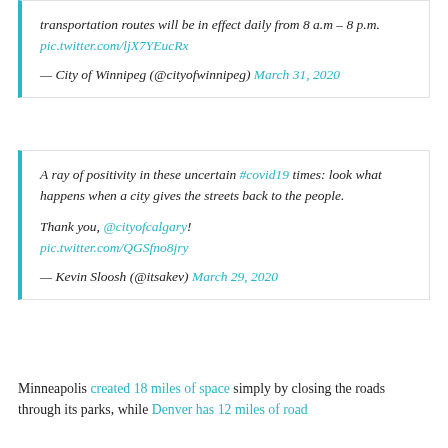transportation routes will be in effect daily from 8 a.m – 8 p.m. pic.twitter.com/ljX7YEucRx
— City of Winnipeg (@cityofwinnipeg) March 31, 2020
A ray of positivity in these uncertain #covid19 times: look what happens when a city gives the streets back to the people.

Thank you, @cityofcalgary! pic.twitter.com/QGSfno8jry

— Kevin Sloosh (@itsakev) March 29, 2020
Minneapolis created 18 miles of space simply by closing the roads through its parks, while Denver has 12 miles of road